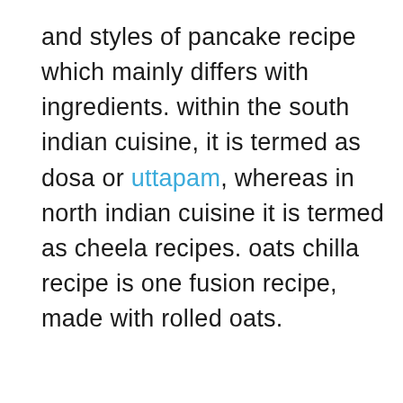and styles of pancake recipe which mainly differs with ingredients. within the south indian cuisine, it is termed as dosa or uttapam, whereas in north indian cuisine it is termed as cheela recipes. oats chilla recipe is one fusion recipe, made with rolled oats.